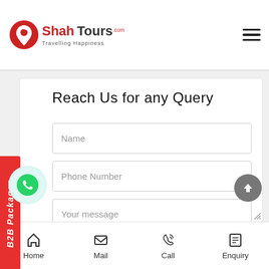Shah Tours - Travelling Happiness
Reach Us for any Query
Name
Phone Number
Your message
Home  Mail  Call  Enquiry